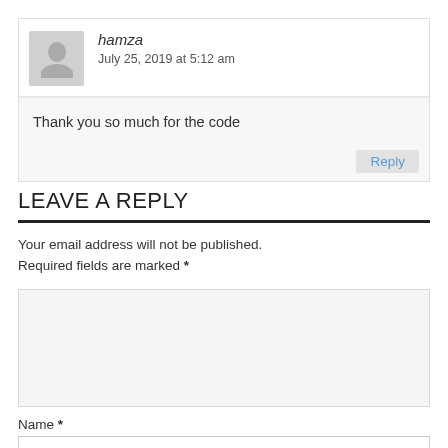hamza
July 25, 2019 at 5:12 am
Thank you so much for the code
Reply
LEAVE A REPLY
Your email address will not be published. Required fields are marked *
Name *
Email *